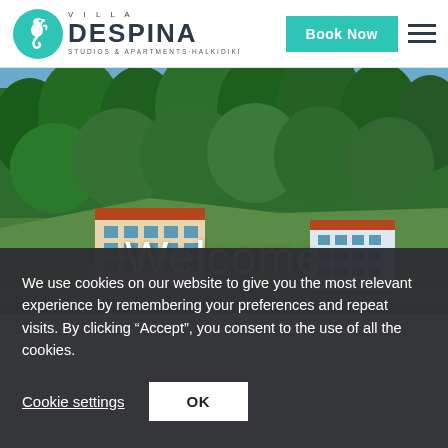Villa Despina - Studios & Apartments Halkidiki
[Figure (photo): Exterior photo of Villa Despina property buildings surrounded by dense green pine forest in Halkidiki, Greece, with 'Welcome' text overlay]
Welcome
We use cookies on our website to give you the most relevant experience by remembering your preferences and repeat visits. By clicking “Accept”, you consent to the use of all the cookies.
Cookie settings | OK